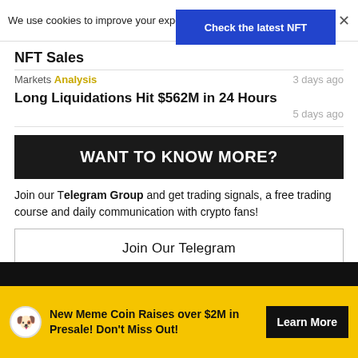We use cookies to improve your experience.
Accept
×
[Figure (other): Blue banner reading 'Check the latest NFT']
NFT Sales
3 days ago
Markets  Analysis
Long Liquidations Hit $562M in 24 Hours
5 days ago
WANT TO KNOW MORE?
Join our Telegram Group and get trading signals, a free trading course and daily communication with crypto fans!
Join Our Telegram
New Meme Coin Raises over $2M in Presale! Don't Miss Out!
Learn More